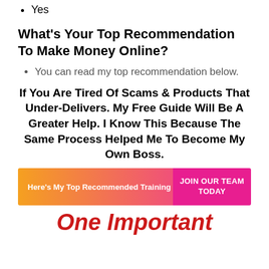Yes
What's Your Top Recommendation To Make Money Online?
You can read my top recommendation below.
If You Are Tired Of Scams & Products That Under-Delivers. My Free Guide Will Be A Greater Help. I Know This Because The Same Process Helped Me To Become My Own Boss.
[Figure (infographic): Banner with gradient background from orange to pink on left side reading 'Here's My Top Recommended Training' and a magenta right side reading 'JOIN OUR TEAM TODAY']
One Important